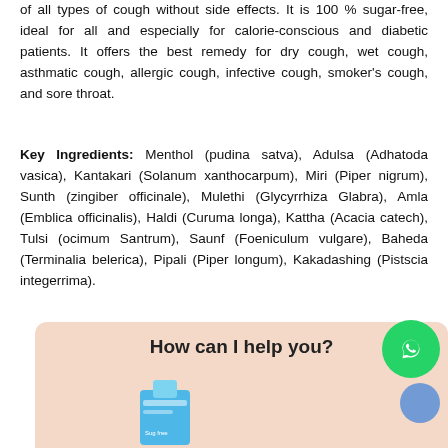of all types of cough without side effects. It is 100 % sugar-free, ideal for all and especially for calorie-conscious and diabetic patients. It offers the best remedy for dry cough, wet cough, asthmatic cough, allergic cough, infective cough, smoker's cough, and sore throat.
Key Ingredients: Menthol (pudina satva), Adulsa (Adhatoda vasica), Kantakari (Solanum xanthocarpum), Miri (Piper nigrum), Sunth (zingiber officinale), Mulethi (Glycyrrhiza Glabra), Amla (Emblica officinalis), Haldi (Curuma longa), Kattha (Acacia catech), Tulsi (ocimum Santrum), Saunf (Foeniculum vulgare), Baheda (Terminalia belerica), Pipali (Piper longum), Kakadashing (Pistscia integerrima).
[Figure (screenshot): Chat widget banner with 'How can I help you?' text, a WhatsApp green button with phone icon, a blue circle, and a partial product image at the bottom.]